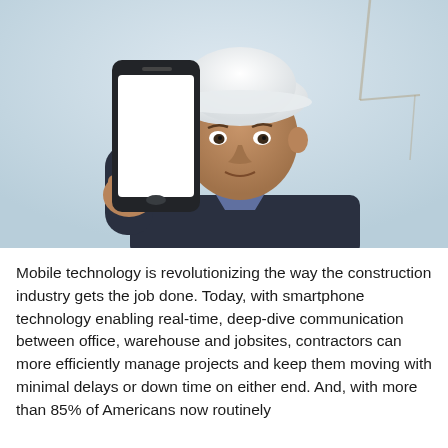[Figure (photo): A construction worker wearing a white hard hat and dark jacket holds up a smartphone with a blank white screen toward the camera. The background is a blurred outdoor construction site with a light blue/grey sky and a crane visible on the right side.]
Mobile technology is revolutionizing the way the construction industry gets the job done. Today, with smartphone technology enabling real-time, deep-dive communication between office, warehouse and jobsites, contractors can more efficiently manage projects and keep them moving with minimal delays or down time on either end. And, with more than 85% of Americans now routinely